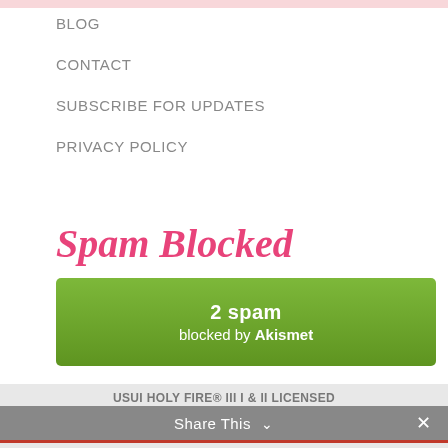BLOG
CONTACT
SUBSCRIBE FOR UPDATES
PRIVACY POLICY
Spam Blocked
[Figure (infographic): Green Akismet spam counter badge showing '2 spam blocked by Akismet']
USUI HOLY FIRE® III I & II LICENSED TEACHER WITH THE INTERNATIONAL CENTER FOR REIKI TRAINING
Share This ∨  ✕